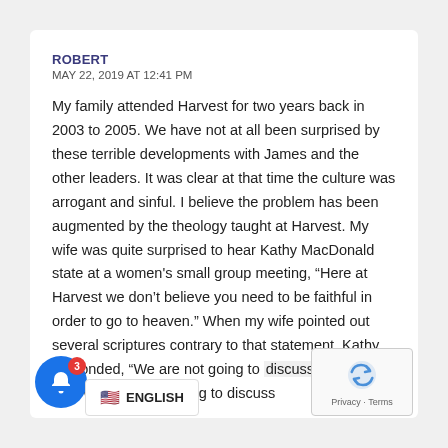ROBERT
MAY 22, 2019 AT 12:41 PM
My family attended Harvest for two years back in 2003 to 2005. We have not at all been surprised by these terrible developments with James and the other leaders. It was clear at that time the culture was arrogant and sinful. I believe the problem has been augmented by the theology taught at Harvest. My wife was quite surprised to hear Kathy MacDonald state at a women's small group meeting, “Here at Harvest we don't believe you need to be faithful in order to go to heaven.” When my wife pointed out several scriptures contrary to that statement, Kathy responded, “We are not going to discuss this…in fact, we are never going to discuss